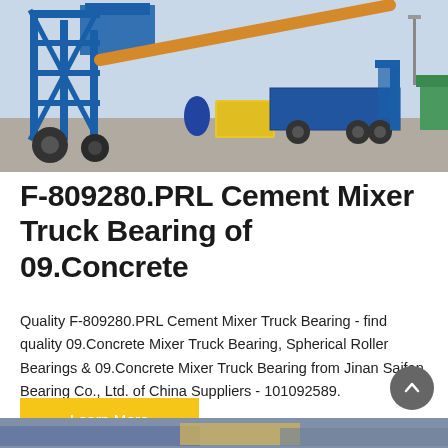[Figure (photo): A blue cement mixer / concrete batching plant truck setup with yellow generator and truck on a paved lot, outdoors.]
F-809280.PRL Cement Mixer Truck Bearing of 09.Concrete
Quality F-809280.PRL Cement Mixer Truck Bearing - find quality 09.Concrete Mixer Truck Bearing, Spherical Roller Bearings & 09.Concrete Mixer Truck Bearing from Jinan Saifan Bearing Co., Ltd. of China Suppliers - 101092589.
[Figure (photo): Partial view of another concrete/construction equipment photo at bottom of page.]